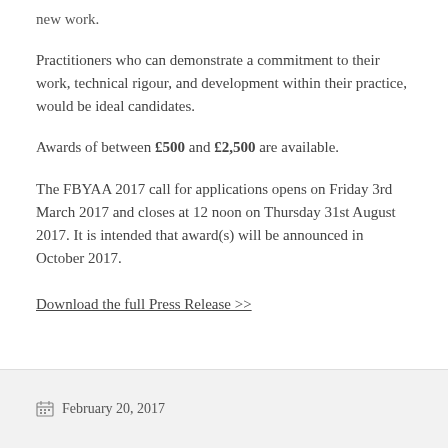new work.
Practitioners who can demonstrate a commitment to their work, technical rigour, and development within their practice, would be ideal candidates.
Awards of between £500 and £2,500 are available.
The FBYAA 2017 call for applications opens on Friday 3rd March 2017 and closes at 12 noon on Thursday 31st August 2017. It is intended that award(s) will be announced in October 2017.
Download the full Press Release >>
February 20, 2017